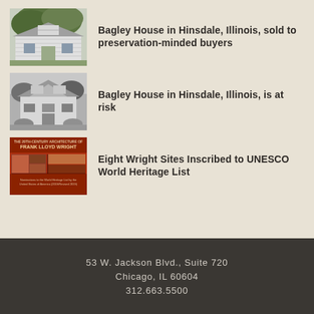[Figure (photo): Color photo of a white clapboard house (Bagley House) with trees in foreground]
Bagley House in Hinsdale, Illinois, sold to preservation-minded buyers
[Figure (photo): Black and white photo of the Bagley House in Hinsdale, Illinois]
Bagley House in Hinsdale, Illinois, is at risk
[Figure (photo): Color image of a book cover: The 20th-Century Architecture of Frank Lloyd Wright – Nominations to the World Heritage List by the United States of America]
Eight Wright Sites Inscribed to UNESCO World Heritage List
53 W. Jackson Blvd., Suite 720
Chicago, IL 60604
312.663.5500